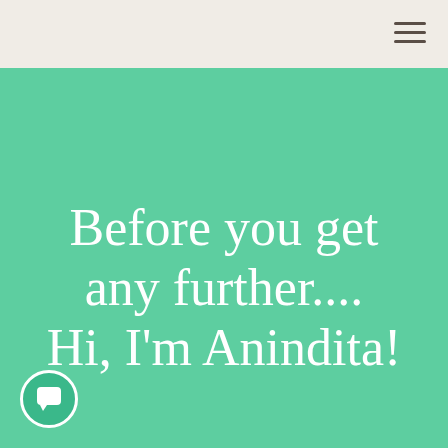Before you get any further.... Hi, I'm Anindita!
[Figure (illustration): Chat bubble icon — a rounded square speech bubble symbol in white on a teal circular button, positioned bottom-left of the green section.]